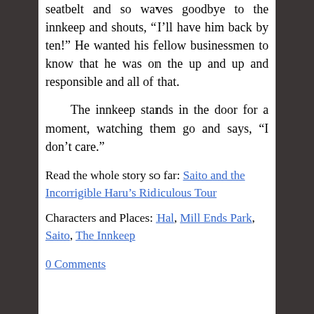seatbelt and so waves goodbye to the innkeep and shouts, “I’ll have him back by ten!” He wanted his fellow businessmen to know that he was on the up and up and responsible and all of that.
The innkeep stands in the door for a moment, watching them go and says, “I don’t care.”
Read the whole story so far: Saito and the Incorrigible Haru’s Ridiculous Tour
Characters and Places: Hal, Mill Ends Park, Saito, The Innkeep
0 Comments